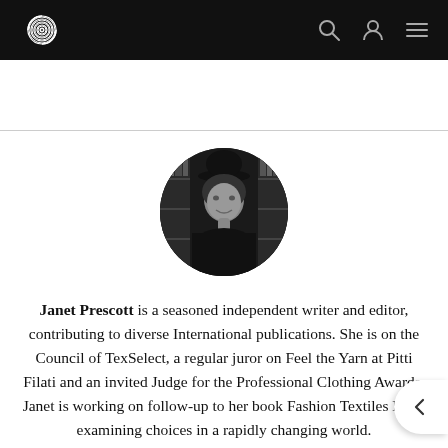Website header with logo and navigation icons (search, user, menu)
[Figure (photo): Circular black and white portrait photo of Janet Prescott, a woman wearing a dark hat, with bookshelves visible in the background]
Janet Prescott is a seasoned independent writer and editor, contributing to diverse International publications. She is on the Council of TexSelect, a regular juror on Feel the Yarn at Pitti Filati and an invited Judge for the Professional Clothing Awards. Janet is working on follow-up to her book Fashion Textiles Now, examining choices in a rapidly changing world.